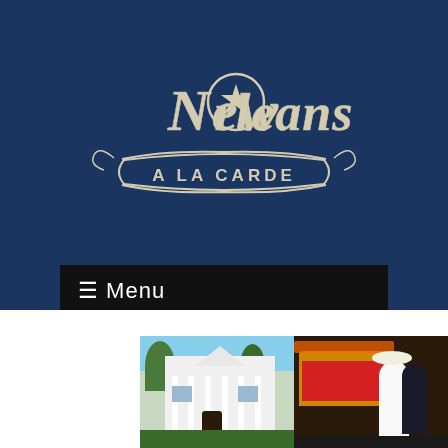[Figure (logo): New Orleans A La Carte logo with decorative script text and star emblem on dark navy blue background]
☰ Menu
[Figure (photo): Photo collage showing a white antebellum mansion on the left and a wedding couple with parasol at a street food vendor on the right, with partial third image at bottom right]